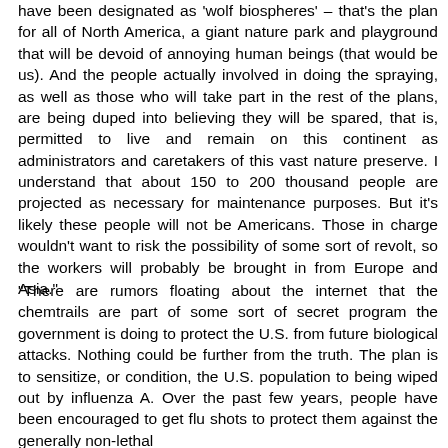have been designated as 'wolf biospheres' – that's the plan for all of North America, a giant nature park and playground that will be devoid of annoying human beings (that would be us). And the people actually involved in doing the spraying, as well as those who will take part in the rest of the plans, are being duped into believing they will be spared, that is, permitted to live and remain on this continent as administrators and caretakers of this vast nature preserve. I understand that about 150 to 200 thousand people are projected as necessary for maintenance purposes. But it's likely these people will not be Americans. Those in charge wouldn't want to risk the possibility of some sort of revolt, so the workers will probably be brought in from Europe and Asia."
"There are rumors floating about the internet that the chemtrails are part of some sort of secret program the government is doing to protect the U.S. from future biological attacks. Nothing could be further from the truth. The plan is to sensitize, or condition, the U.S. population to being wiped out by influenza A. Over the past few years, people have been encouraged to get flu shots to protect them against the generally non-lethal